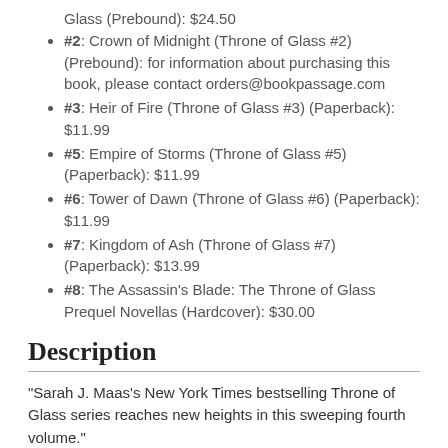Glass (Prebound): $24.50
#2: Crown of Midnight (Throne of Glass #2) (Prebound): for information about purchasing this book, please contact orders@bookpassage.com
#3: Heir of Fire (Throne of Glass #3) (Paperback): $11.99
#5: Empire of Storms (Throne of Glass #5) (Paperback): $11.99
#6: Tower of Dawn (Throne of Glass #6) (Paperback): $11.99
#7: Kingdom of Ash (Throne of Glass #7) (Paperback): $13.99
#8: The Assassin's Blade: The Throne of Glass Prequel Novellas (Hardcover): $30.00
Description
"Sarah J. Maas's New York Times bestselling Throne of Glass series reaches new heights in this sweeping fourth volume."
Everyone Celaena Sardothien loves has been taken from her. But she's at last returned to the empire-for vengeance, to rescue her once-glorious kingdom, and to confront the shadows